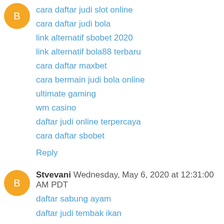cara daftar judi slot online
cara daftar judi bola
link alternatif sbobet 2020
link alternatif bola88 terbaru
cara daftar maxbet
cara bermain judi bola online
ultimate gaming
wm casino
daftar judi online terpercaya
cara daftar sbobet
Reply
Stvevani  Wednesday, May 6, 2020 at 12:31:00 AM PDT
daftar sabung ayam
daftar judi tembak ikan
panduan bermain judi slot
cara bermain sabung ayam online
judi slot online
panduan bermain baccarat
panduan daftar judi slot
panduan bermain judi bola online